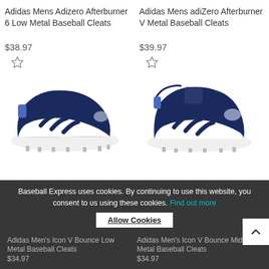Adidas Mens Adizero Afterburner 6 Low Metal Baseball Cleats
$38.97
[Figure (photo): Adidas navy and white low metal baseball cleat, left shoe, side view]
Adidas Mens adiZero Afterburner V Metal Baseball Cleats
$39.97
[Figure (photo): Adidas navy and white metal baseball cleat, mid-cut, side view]
Baseball Express uses cookies. By continuing to use this website, you consent to us using these cookies. Find out more
Allow Cookies
Adidas Men's Icon V Bounce Low Metal Baseball Cleats
$34.97
Adidas Men's Icon V Bounce Mid Metal Baseball Cleats
$34.97